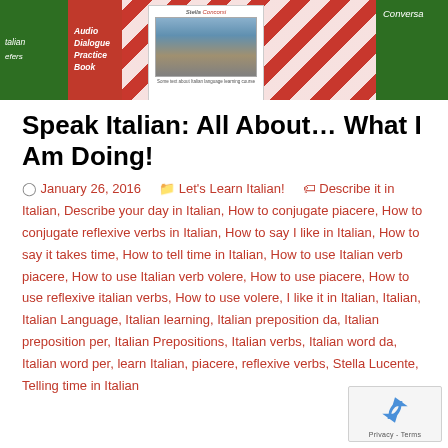[Figure (photo): Photo of Italian language learning books and materials including audio dialogue practice book, Stella Lucente materials, on a red and white checkered background with green accents]
Speak Italian: All About… What I Am Doing!
January 26, 2016   Let's Learn Italian!   Describe it in Italian, Describe your day in Italian, How to conjugate piacere, How to conjugate reflexive verbs in Italian, How to say I like in Italian, How to say it takes time, How to tell time in Italian, How to use Italian verb piacere, How to use Italian verb volere, How to use piacere, How to use reflexive italian verbs, How to use volere, I like it in Italian, Italian, Italian Language, Italian learning, Italian preposition da, Italian preposition per, Italian Prepositions, Italian verbs, Italian word da, Italian word per, learn Italian, piacere, reflexive verbs, Stella Lucente, Telling time in Italian